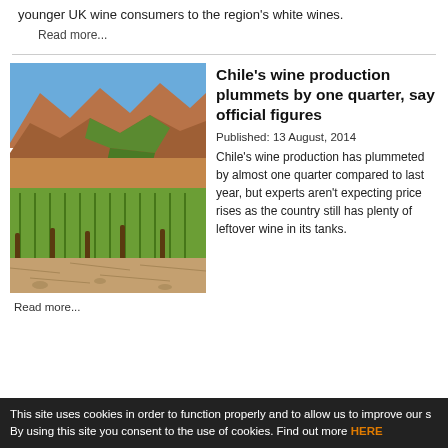younger UK wine consumers to the region's white wines.
Read more...
[Figure (photo): Vineyard landscape with mountains in background, green grapevines in foreground, arid terrain, Chile]
Chile's wine production plummets by one quarter, say official figures
Published:  13 August, 2014
Chile's wine production has plummeted by almost one quarter compared to last year, but experts aren't expecting price rises as the country still has plenty of leftover wine in its tanks.
Read more...
This site uses cookies in order to function properly and to allow us to improve our s By using this site you consent to the use of cookies. Find out more HERE